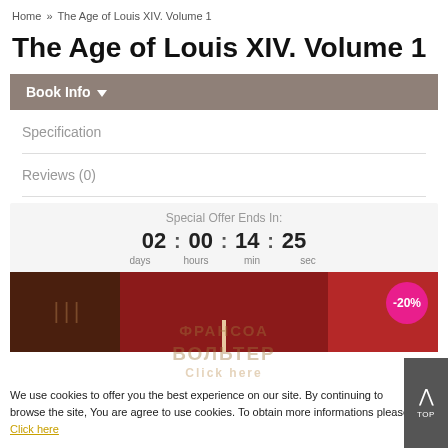Home » The Age of Louis XIV. Volume 1
The Age of Louis XIV. Volume 1
Book Info ▾
Specification
Reviews (0)
Special Offer Ends In: 02 : 00 : 14 : 25 days hours min sec
[Figure (photo): Book cover image strip with dark red and brown tones, showing a candle and -20% discount badge]
We use cookies to offer you the best experience on our site. By continuing to browse the site, You are agree to use cookies. To obtain more informations please Click here